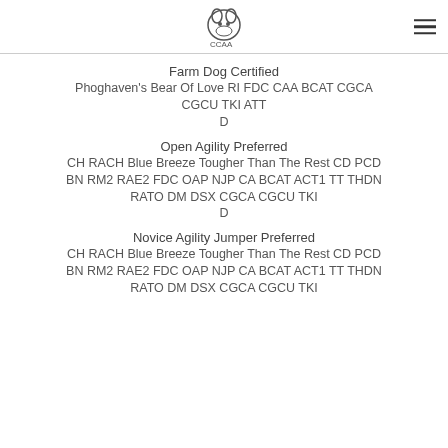CCAA logo and menu
Farm Dog Certified
Phoghaven's Bear Of Love RI FDC CAA BCAT CGCA CGCU TKI ATT
D
Open Agility Preferred
CH RACH Blue Breeze Tougher Than The Rest CD PCD BN RM2 RAE2 FDC OAP NJP CA BCAT ACT1 TT THDN RATO DM DSX CGCA CGCU TKI
D
Novice Agility Jumper Preferred
CH RACH Blue Breeze Tougher Than The Rest CD PCD BN RM2 RAE2 FDC OAP NJP CA BCAT ACT1 TT THDN RATO DM DSX CGCA CGCU TKI